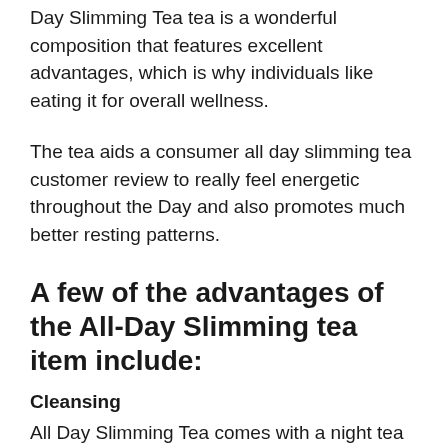Day Slimming Tea tea is a wonderful composition that features excellent advantages, which is why individuals like eating it for overall wellness.
The tea aids a consumer all day slimming tea customer review to really feel energetic throughout the Day and also promotes much better resting patterns.
A few of the advantages of the All-Day Slimming tea item include:
Cleansing
All Day Slimming Tea comes with a night tea that supports detoxing. The tea eliminates all undesirable fat cells from the body and